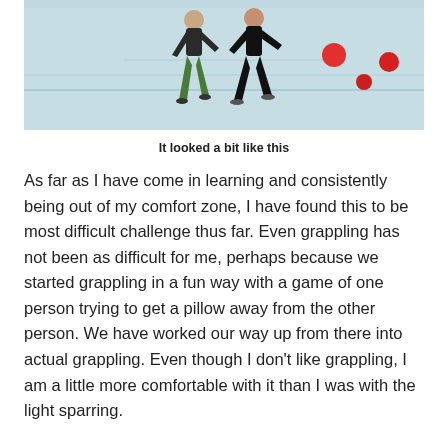[Figure (photo): Two people in a gymnasium doing a physical activity, one wearing green leggings and the other in black. Red balls are visible on the light blue gym floor in the background.]
It looked a bit like this
As far as I have come in learning and consistently being out of my comfort zone, I have found this to be most difficult challenge thus far. Even grappling has not been as difficult for me, perhaps because we started grappling in a fun way with a game of one person trying to get a pillow away from the other person. We have worked our way up from there into actual grappling. Even though I don't like grappling, I am a little more comfortable with it than I was with the light sparring.